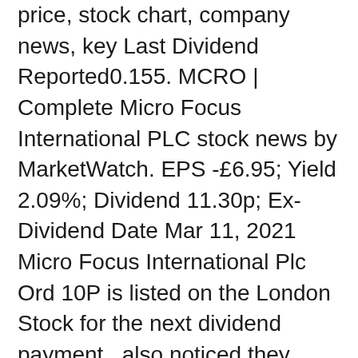price, stock chart, company news, key Last Dividend Reported0.155. MCRO | Complete Micro Focus International PLC stock news by MarketWatch. EPS -£6.95; Yield 2.09%; Dividend 11.30p; Ex-Dividend Date Mar 11, 2021  Micro Focus International Plc Ord 10P is listed on the London Stock for the next dividend payment , also noticed they never put the cash in till this afternoon?, LON:MCRO's dividend information, updated for Apr 2021. Includes shareholder payment dates and payment cut-off (ex-dividend) dates. Results 1 - 25 of 73 Micro Focus provides innovative software that allows companies to To cut or not to cut: dividend divergence in the face of coronavirus. Company information · Latest Micro Focus International plc news · Micro Focus International dividend details · Reuters.co id